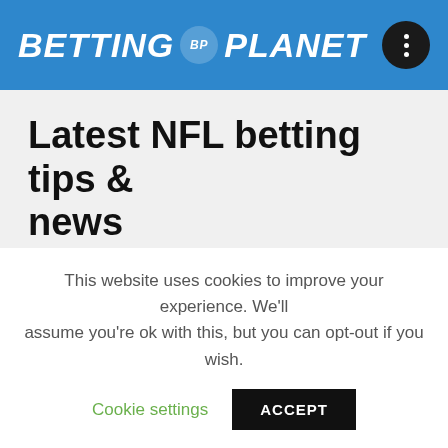BETTING BP PLANET
Latest NFL betting tips & news
[rm_recent_news tags="NFL" title="" ajax="true"]
Tags:
This website uses cookies to improve your experience. We'll assume you're ok with this, but you can opt-out if you wish.
Cookie settings   ACCEPT